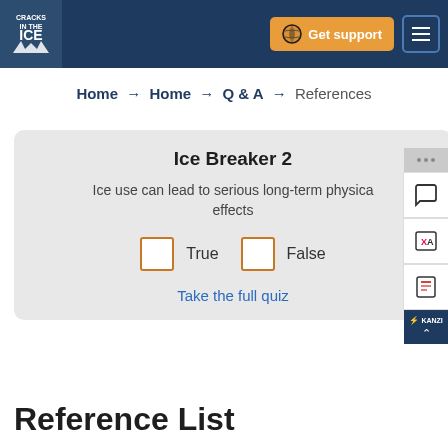Cracks in the Ice — Get support — Menu
Home → Home → Q & A → References
Ice Breaker 2
Ice use can lead to serious long-term physical effects
True   False
Take the full quiz
Reference List